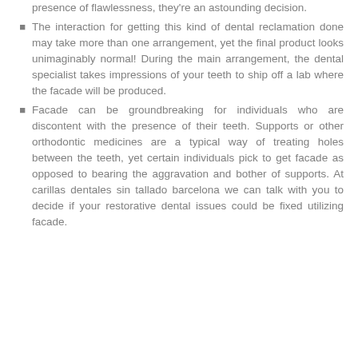presence of flawlessness, they're an astounding decision.
The interaction for getting this kind of dental reclamation done may take more than one arrangement, yet the final product looks unimaginably normal! During the main arrangement, the dental specialist takes impressions of your teeth to ship off a lab where the facade will be produced.
Facade can be groundbreaking for individuals who are discontent with the presence of their teeth. Supports or other orthodontic medicines are a typical way of treating holes between the teeth, yet certain individuals pick to get facade as opposed to bearing the aggravation and bother of supports. At carillas dentales sin tallado barcelona we can talk with you to decide if your restorative dental issues could be fixed utilizing facade.